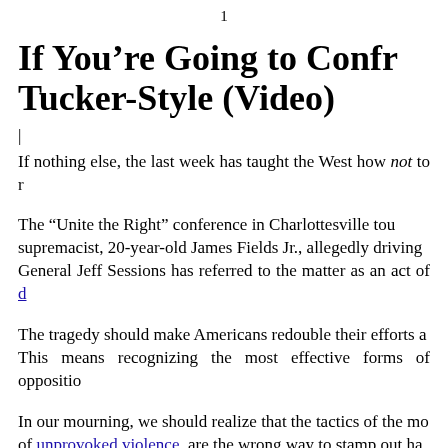1
If You’re Going to Confr… Tucker-Style (Video)
|
If nothing else, the last week has taught the West how not to r…
The “Unite the Right” conference in Charlottesville tou… supremacist, 20-year-old James Fields Jr., allegedly driving… General Jeff Sessions has referred to the matter as an act of d…
The tragedy should make Americans redouble their efforts a… This means recognizing the most effective forms of oppositio…
In our mourning, we should realize that the tactics of the mo… of unprovoked violence, are the wrong way to stamp out ha…